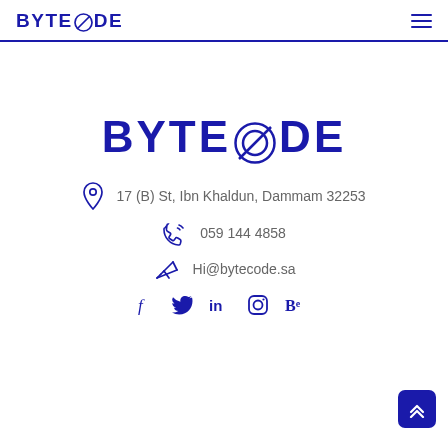BYTECODE
[Figure (logo): BYTECODE large logo centered on page]
17 (B) St, Ibn Khaldun, Dammam 32253
059 144 4858
Hi@bytecode.sa
[Figure (infographic): Social media icons: Facebook, Twitter, LinkedIn, Instagram, Behance]